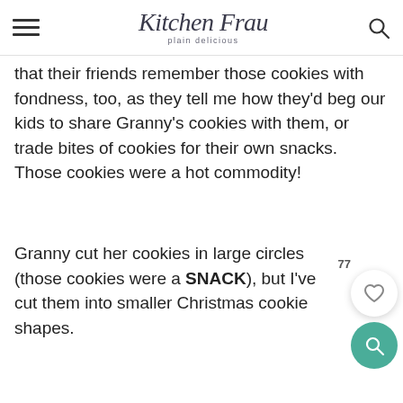Kitchen Frau — plain delicious
that their friends remember those cookies with fondness, too, as they tell me how they'd beg our kids to share Granny's cookies with them, or trade bites of cookies for their own snacks. Those cookies were a hot commodity!
Granny cut her cookies in large circles (those cookies were a SNACK), but I've cut them into smaller Christmas cookie shapes.